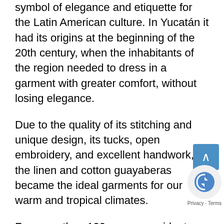symbol of elegance and etiquette for the Latin American culture. In Yucatán it had its origins at the beginning of the 20th century, when the inhabitants of the region needed to dress in a garment with greater comfort, without losing elegance.
Due to the quality of its stitching and unique design, its tucks, open embroidery, and excellent handwork, the linen and cotton guayaberas became the ideal garments for our warm and tropical climates.
For more than 100 years, presidents and many celebrities have worn the guayabera as a formal garment, whether strolling on the malecón, going to a baptism, or even attending a wedding in an elegant hacienda. It is worth noting that the use of the guayabera has become popular with a younger generation, including children and even women, known as a premier garment.